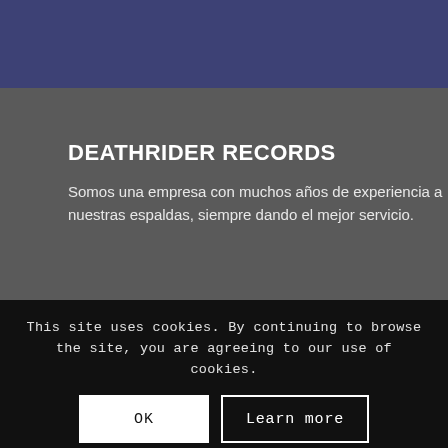DEATHRIDER RECORDS
Somos una empresa con muchos años de experiencia a nuestras espaldas, siempre dando el mejor servicio.
[Figure (logo): PayPal logo with blue 'P' icon and 'PayPal' text in dark blue and light blue colors]
This site uses cookies. By continuing to browse the site, you are agreeing to our use of cookies.
OK
Learn more